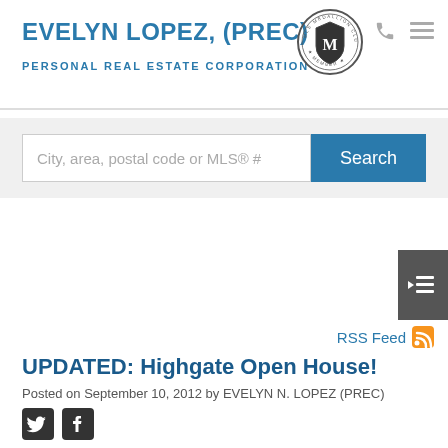EVELYN LOPEZ, (PREC) — PERSONAL REAL ESTATE CORPORATION
[Figure (logo): Medallion Club Member badge — circular emblem with shield and letter M]
City, area, postal code or MLS® #
Search
[Figure (other): Sidebar tab with hamburger menu lines and left arrow icon on dark grey background]
RSS Feed
UPDATED: Highgate Open House!
Posted on September 10, 2012 by EVELYN N. LOPEZ (PREC)
[Figure (other): Twitter and Facebook social media share icons]
Please note the change for this upcoming openhouse.
We are proud to announce that this Sep 16th, 2:00 PM to 4:00 PM we will be hosting an Open House at 6708 ARCOLA Street in the Highgate neighbourhood. Borough: South. This i…